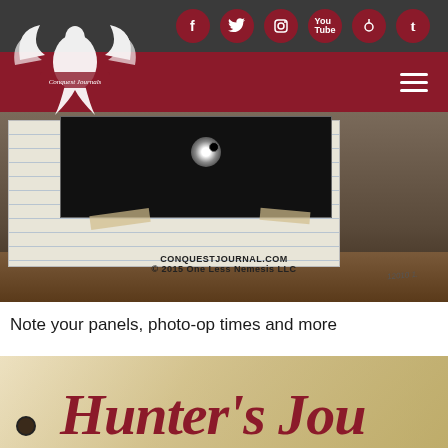[Figure (screenshot): Website header with dark top bar containing social media icons (Facebook, Twitter, Instagram, YouTube, Pinterest, Tumblr) as dark red circles, and below it a dark red navigation bar with hamburger menu icon. Conquest Journals logo with phoenix/bird graphic on left.]
[Figure (photo): Close-up photo of lined notebook paper with a dark photograph on top showing what appears to be a target with bullet holes. Watermark text reads CONQUESTJOURNAL.COM and © 2015 One Less Nemesis LLC]
Note your panels, photo-op times and more
[Figure (photo): Close-up photo of a journal cover with red cursive text reading Hunter's Jou (truncated). Background is a cream/tan textured surface. A small dark hole (binding hole) is visible on the left side.]